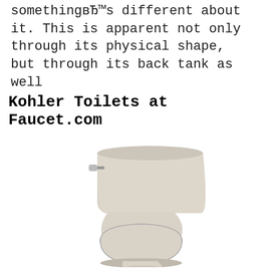something's different about it. This is apparent not only through its physical shape, but through its back tank as well
Kohler Toilets at Faucet.com
[Figure (photo): A Kohler one-piece toilet in a bisque/almond color, shown from a side-front angle, featuring a curved tank and oval seat on a white background.]